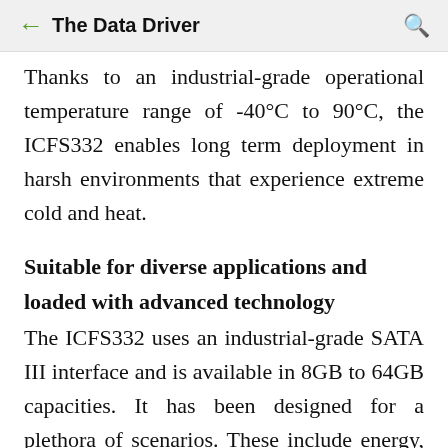← The Data Driver 🔍
Thanks to an industrial-grade operational temperature range of -40°C to 90°C, the ICFS332 enables long term deployment in harsh environments that experience extreme cold and heat.
Suitable for diverse applications and loaded with advanced technology
The ICFS332 uses an industrial-grade SATA III interface and is available in 8GB to 64GB capacities. It has been designed for a plethora of scenarios. These include energy, automation, surveillance, transportation, networking, medical